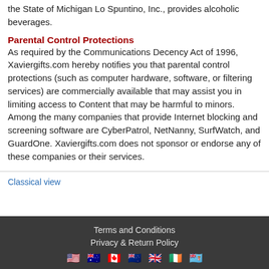the State of Michigan Lo Spuntino, Inc., provides alcoholic beverages.
Parental Control Protections
As required by the Communications Decency Act of 1996, Xaviergifts.com hereby notifies you that parental control protections (such as computer hardware, software, or filtering services) are commercially available that may assist you in limiting access to Content that may be harmful to minors. Among the many companies that provide Internet blocking and screening software are CyberPatrol, NetNanny, SurfWatch, and GuardOne. Xaviergifts.com does not sponsor or endorse any of these companies or their services.
Classical view
Terms and Conditions
Privacy & Return Policy